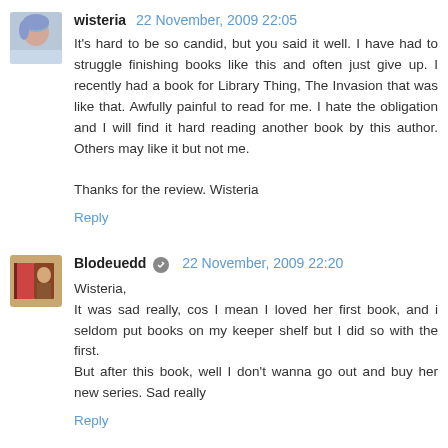wisteria  22 November, 2009 22:05
It's hard to be so candid, but you said it well. I have had to struggle finishing books like this and often just give up. I recently had a book for Library Thing, The Invasion that was like that. Awfully painful to read for me. I hate the obligation and I will find it hard reading another book by this author. Others may like it but not me.

Thanks for the review. Wisteria
Reply
Blodeuedd  22 November, 2009 22:20
Wisteria,
It was sad really, cos I mean I loved her first book, and i seldom put books on my keeper shelf but I did so with the first.
But after this book, well I don't wanna go out and buy her new series. Sad really
Reply